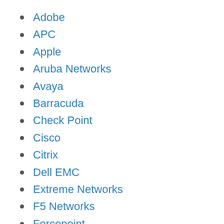Adobe
APC
Apple
Aruba Networks
Avaya
Barracuda
Check Point
Cisco
Citrix
Dell EMC
Extreme Networks
F5 Networks
Forcepoint
Fortinet
HP Enterprise
IBM